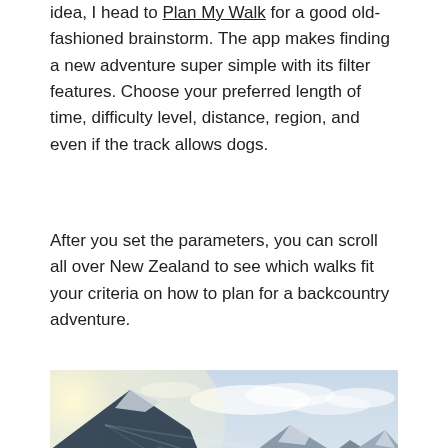idea, I head to Plan My Walk for a good old-fashioned brainstorm. The app makes finding a new adventure super simple with its filter features. Choose your preferred length of time, difficulty level, distance, region, and even if the track allows dogs.
After you set the parameters, you can scroll all over New Zealand to see which walks fit your criteria on how to plan for a backcountry adventure.
[Figure (photo): A dramatic mountain valley landscape with steep rocky peaks, glaciers, and a clear sky. In the foreground at the bottom, two small tents (orange and blue) are pitched on rocky terrain with a lone hiker standing nearby.]